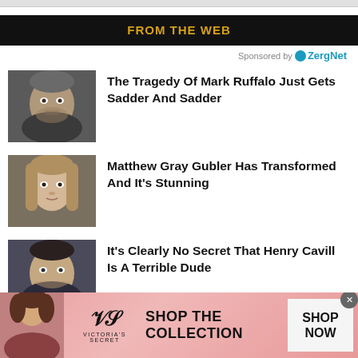FROM THE WEB
Sponsored by ZergNet
The Tragedy Of Mark Ruffalo Just Gets Sadder And Sadder
Matthew Gray Gubler Has Transformed And It's Stunning
It's Clearly No Secret That Henry Cavill Is A Terrible Dude
[Figure (infographic): Victoria's Secret advertisement banner with model photo, VS logo, 'SHOP THE COLLECTION' text, and 'SHOP NOW' button]